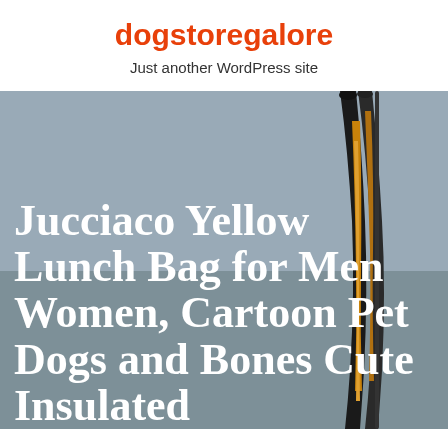dogstoregalore
Just another WordPress site
[Figure (photo): Product photo of a lunch bag with decorative dog-bone patterned handles/elements against a gray background]
Jucciaco Yellow Lunch Bag for Men Women, Cartoon Pet Dogs and Bones Cute Insulated